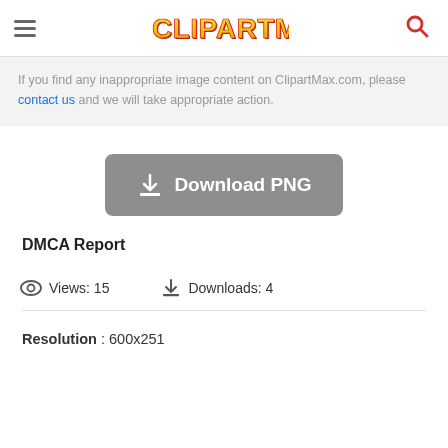ClipartMax — hamburger menu, logo, search icon
If you find any inappropriate image content on ClipartMax.com, please contact us and we will take appropriate action.
[Figure (other): Download PNG button with download icon]
DMCA Report
Views: 15    Downloads: 4
Resolution : 600x251